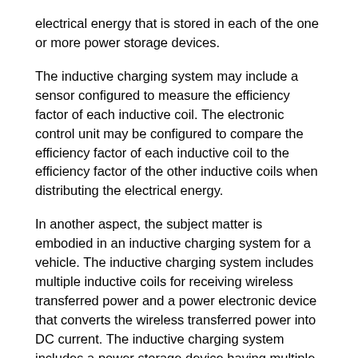electrical energy that is stored in each of the one or more power storage devices.
The inductive charging system may include a sensor configured to measure the efficiency factor of each inductive coil. The electronic control unit may be configured to compare the efficiency factor of each inductive coil to the efficiency factor of the other inductive coils when distributing the electrical energy.
In another aspect, the subject matter is embodied in an inductive charging system for a vehicle. The inductive charging system includes multiple inductive coils for receiving wireless transferred power and a power electronic device that converts the wireless transferred power into DC current. The inductive charging system includes a power storage device having multiple subsets of power cells. The power storage device being configured to store the electrical energy by the DC current charging the power storage device. The electronic control unit is connected to the multiple inductive coils and the multiple power storage devices. The electronic control unit is configured to control storage of an amount of the electrical